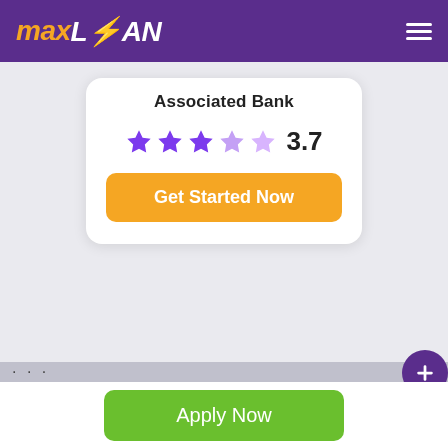[Figure (logo): MaxLoan logo — 'max' in orange italic bold, 'L' with lightning bolt, 'OAN' in white italic bold, on purple header bar with hamburger menu icon on right]
Associated Bank
3.7
Get Started Now
Apply Now
Applying does NOT affect your credit score! No credit check to apply.